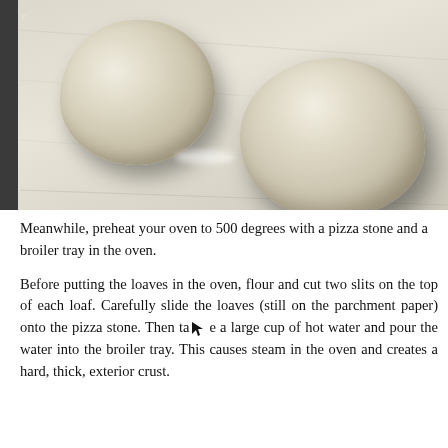[Figure (photo): Two round bread dough balls resting on parchment paper on a dark baking tray, photographed from above at an angle. The dough balls are pale beige/cream colored with a slightly textured surface. One ball is on the left, slightly higher up; the other is larger and positioned to the right and lower. Some flour dust is visible between them.]
Meanwhile, preheat your oven to 500 degrees with a pizza stone and a broiler tray in the oven.
Before putting the loaves in the oven, flour and cut two slits on the top of each loaf. Carefully slide the loaves (still on the parchment paper) onto the pizza stone. Then take a large cup of hot water and pour the water into the broiler tray. This causes steam in the oven and creates a hard, thick, exterior crust.